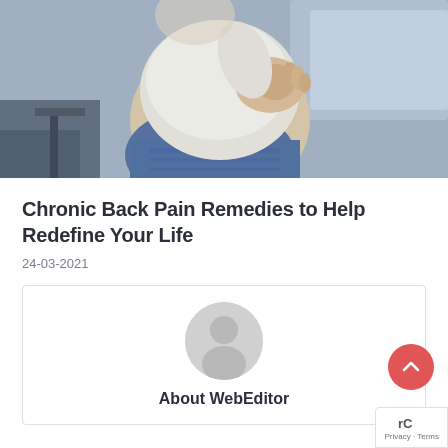[Figure (photo): Person holding their lower back in pain, wearing jeans and a light grey top, seated near a couch in a living room setting]
Chronic Back Pain Remedies to Help Redefine Your Life
24-03-2021
[Figure (illustration): Default user avatar icon — grey circle with silhouette of person]
About WebEditor